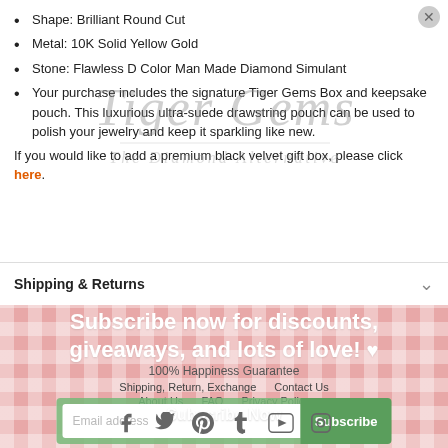Shape: Brilliant Round Cut
Metal: 10K Solid Yellow Gold
Stone: Flawless D Color Man Made Diamond Simulant
Your purchase includes the signature Tiger Gems Box and keepsake pouch. This luxurious ultra-suede drawstring pouch can be used to polish your jewelry and keep it sparkling like new.
If you would like to add a premium black velvet gift box, please click here.
Shipping & Returns
[Figure (logo): Tiger Gems cursive watermark logo overlay]
Subscribe now for discounts, giveaways, and lots of love! ♥
100% Happiness Guarantee
Shipping, Return, Exchange    Contact Us
About Us    FAQ    Privacy Policy
Disclaimer    Care Tips
Email address    Subscribe Now    Subscribe
[Figure (infographic): Social media icons row: Facebook, Twitter, Pinterest, Tumblr, YouTube, Instagram]